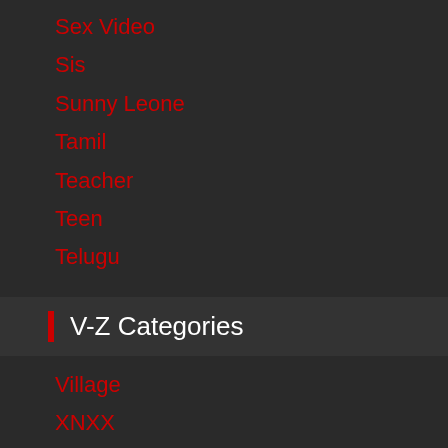Sex Video
Sis
Sunny Leone
Tamil
Teacher
Teen
Telugu
V-Z Categories
Village
XNXX
XNXX Com
XNXX Movie
XNXX Tv
XNXX Video
XXX
Yoga